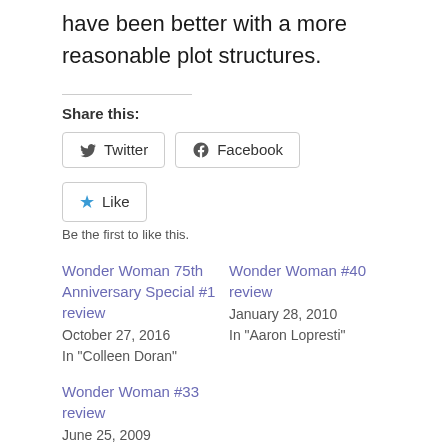have been better with a more reasonable plot structures.
Share this:
[Figure (other): Twitter and Facebook share buttons, and a Like button with star icon]
Be the first to like this.
Wonder Woman 75th Anniversary Special #1 review
October 27, 2016
In "Colleen Doran"
Wonder Woman #40 review
January 28, 2010
In "Aaron Lopresti"
Wonder Woman #33 review
June 25, 2009
In "Wonder Woman #33